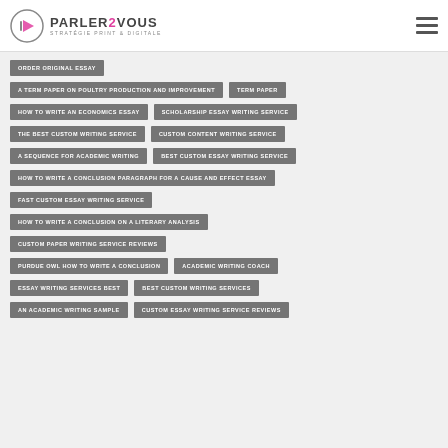PARLER2VOUS STRATÉGIE PRINT & DIGITALE
ORDER ORIGINAL ESSAY
A TERM PAPER ON POULTRY PRODUCTION AND IMPROVEMENT
TERM PAPER
HOW TO WRITE AN ECONOMICS ESSAY
SCHOLARSHIP ESSAY WRITING SERVICE
THE BEST CUSTOM WRITING SERVICE
CUSTOM CONTENT WRITING SERVICE
A SEQUENCE FOR ACADEMIC WRITING
BEST CUSTOM ESSAY WRITING SERVICE
HOW TO WRITE A CONCLUSION PARAGRAPH FOR A CAUSE AND EFFECT ESSAY
FAST CUSTOM ESSAY WRITING SERVICE
HOW TO WRITE A CONCLUSION ON A LITERARY ANALYSIS
CUSTOM PAPER WRITING SERVICE REVIEWS
PURDUE OWL HOW TO WRITE A CONCLUSION
ACADEMIC WRITING COACH
ESSAY WRITING SERVICES BEST
BEST CUSTOM WRITING SERVICES
AN ACADEMIC WRITING SAMPLE
CUSTOM ESSAY WRITING SERVICE REVIEWS